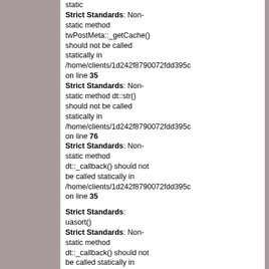static
Strict Standards: Non-static method twPostMeta::_getCache() should not be called statically in /home/clients/1d242f8790072fdd395c on line 35
method dt::_callback() should not be called statically in /home/clients/1d242f8790072fdd395c on line 76
Strict Standards: Non-static method dt::_callback() should not be called statically in /home/clients/1d242f8790072fdd395c on line 35
Strict Standards: uasort() expects parameter to be a valid callback
Strict Standards: Non-static method dt::_callback() should not be called statically in /home/clients/1d242f8790072fdd395c on line 35
be a Strict Standards: Non-static method dt::str() should not be called